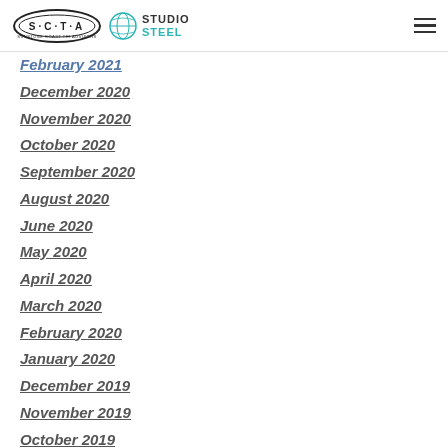SCTA / Studio Steel header with navigation
February 2021
December 2020
November 2020
October 2020
September 2020
August 2020
June 2020
May 2020
April 2020
March 2020
February 2020
January 2020
December 2019
November 2019
October 2019
September 2019
August 2019